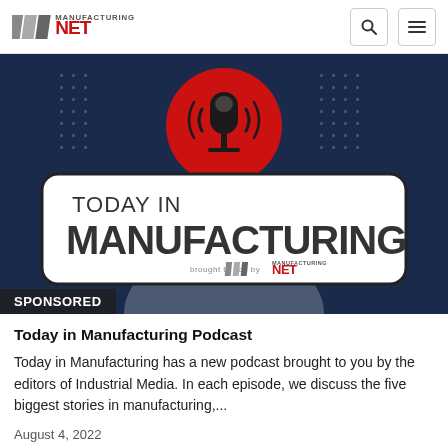Manufacturing.net
[Figure (illustration): Today in Manufacturing podcast logo image on dark blue background with microphone icon and red circle, with 'TODAY IN MANUFACTURING' text and Manufacturing.net branding. 'SPONSORED' label at bottom left.]
Today in Manufacturing Podcast
Today in Manufacturing has a new podcast brought to you by the editors of Industrial Media. In each episode, we discuss the five biggest stories in manufacturing,...
August 4, 2022